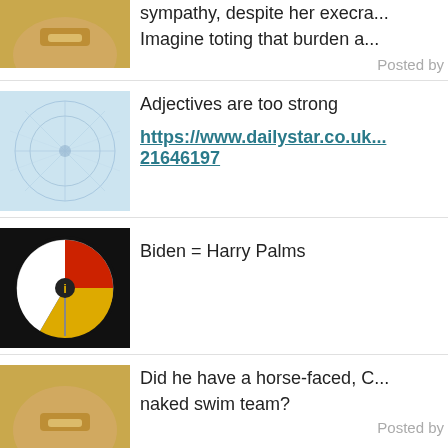[Figure (photo): Avatar image - gold/skin toned abstract]
sympathy, despite her execra... Imagine toting that burden a...
Posted by
[Figure (illustration): Avatar - blue network/web pattern on light blue]
Adjectives are too strong
https://www.dailystar.co.uk... 21646197
[Figure (logo): Avatar - black circle with red/yellow/white peace-sign style logo]
Biden = Harry Palms
[Figure (photo): Avatar image - gold/skin toned abstract]
Did he have a horse-faced, C... naked swim team?
Posted by
[Figure (illustration): Avatar - blue network/web pattern on light blue]
Oracle vp